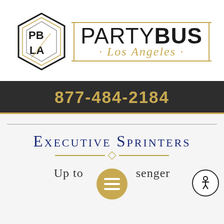[Figure (logo): Party Bus Los Angeles logo with hexagonal PB/LA emblem on left and PARTYBUS Los Angeles text with gold decorative frame on right]
877-484-2184
Executive Sprinters
Up to [menu overlay] senger